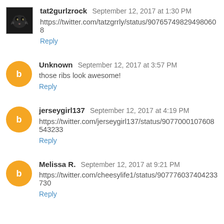tat2gurlzrock  September 12, 2017 at 1:30 PM
https://twitter.com/tatzgrrly/status/907657498294980608
Reply
Unknown  September 12, 2017 at 3:57 PM
those ribs look awesome!
Reply
jerseygirl137  September 12, 2017 at 4:19 PM
https://twitter.com/jerseygirl137/status/9077000107608543233
Reply
Melissa R.  September 12, 2017 at 9:21 PM
https://twitter.com/cheesylife1/status/907776037404233730
Reply